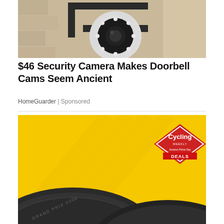[Figure (photo): Security camera mounted on a wall bracket, white dome camera with LED ring, mounted on a brick/stone wall surface]
$46 Security Camera Makes Doorbell Cams Seem Ancient
HomeGuarder | Sponsored
[Figure (photo): Cycling tires (Continental Grand Prix 5000 and Pirelli P Zero Race) on yellow background with Cycling Weekly Amazon Prime Day Deals diamond badge in top right corner]